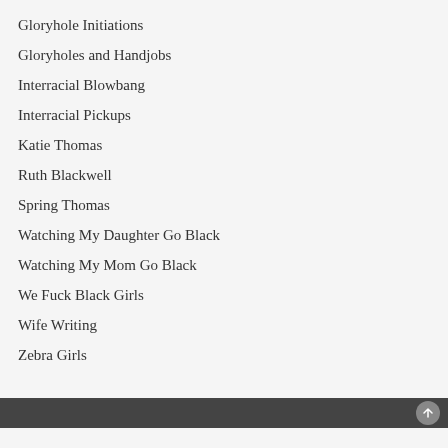Gloryhole Initiations
Gloryholes and Handjobs
Interracial Blowbang
Interracial Pickups
Katie Thomas
Ruth Blackwell
Spring Thomas
Watching My Daughter Go Black
Watching My Mom Go Black
We Fuck Black Girls
Wife Writing
Zebra Girls